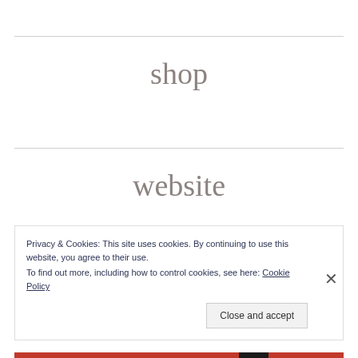shop
website
Privacy & Cookies: This site uses cookies. By continuing to use this website, you agree to their use.
To find out more, including how to control cookies, see here: Cookie Policy
Close and accept